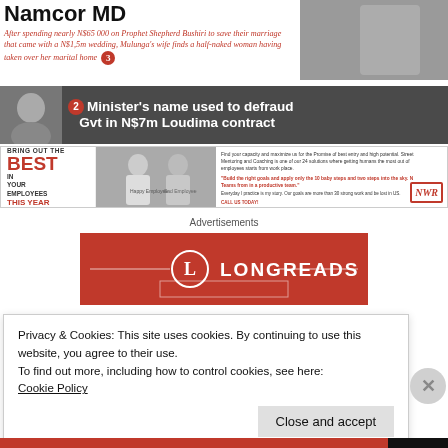Namcor MD
After spending nearly N$65 000 on Prophet Shepherd Bushiri to save their marriage that came with a N$1,5m wedding, Mulunga's wife finds a half-naked woman having taken over her marital home 3
[Figure (photo): Dark banner with photo of man on left, headline: Minister's name used to defraud Gvt in N$7m Loudima contract]
[Figure (infographic): NWR training advertisement: Bring Out The Best In Your Employees This Year]
Advertisements
[Figure (logo): Longreads advertisement - red background with Longreads logo and text]
Privacy & Cookies: This site uses cookies. By continuing to use this website, you agree to their use.
To find out more, including how to control cookies, see here: Cookie Policy
Close and accept